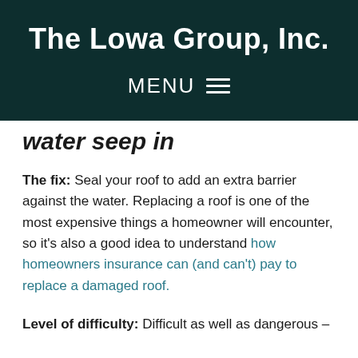The Lowa Group, Inc.
water seep in
The fix: Seal your roof to add an extra barrier against the water. Replacing a roof is one of the most expensive things a homeowner will encounter, so it's also a good idea to understand how homeowners insurance can (and can't) pay to replace a damaged roof.
Level of difficulty: Difficult as well as dangerous –